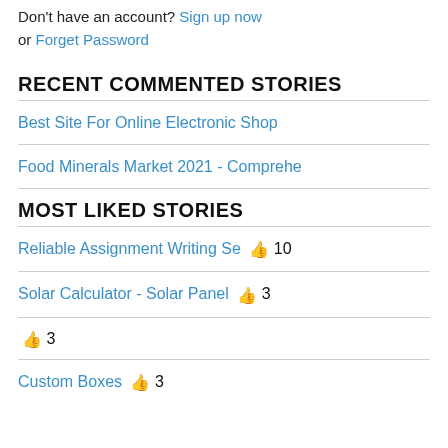Don't have an account? Sign up now or Forget Password
RECENT COMMENTED STORIES
Best Site For Online Electronic Shop
Food Minerals Market 2021 - Comprehe
MOST LIKED STORIES
Reliable Assignment Writing Se 👍 10
Solar Calculator - Solar Panel 👍 3
👍 3
Custom Boxes 👍 3